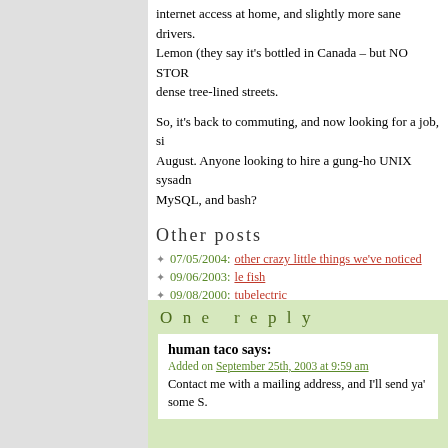internet access at home, and slightly more sane drivers. Lemon (they say it's bottled in Canada – but NO STOR dense tree-lined streets.
So, it's back to commuting, and now looking for a job, si August. Anyone looking to hire a gung-ho UNIX sysadn MySQL, and bash?
Other posts
07/05/2004: other crazy little things we've noticed
09/06/2003: le fish
09/08/2000: tubelectric
31/08/2000: swingin' on the gallows pole
One reply
human taco says:
Added on September 25th, 2003 at 9:59 am
Contact me with a mailing address, and I'll send ya' some S.